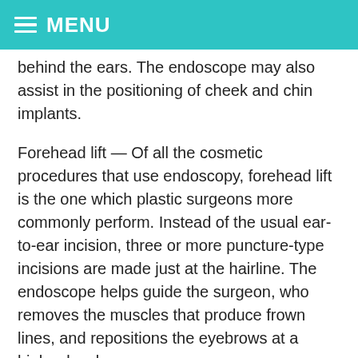MENU
behind the ears. The endoscope may also assist in the positioning of cheek and chin implants.
Forehead lift — Of all the cosmetic procedures that use endoscopy, forehead lift is the one which plastic surgeons more commonly perform. Instead of the usual ear-to-ear incision, three or more puncture-type incisions are made just at the hairline. The endoscope helps guide the surgeon, who removes the muscles that produce frown lines, and repositions the eyebrows at a higher level.
Reconstructive Surgery:
The...